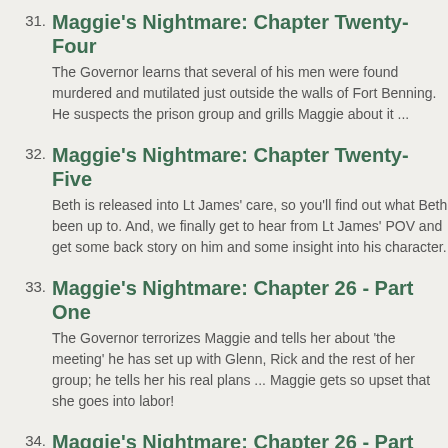31. Maggie's Nightmare: Chapter Twenty-Four — The Governor learns that several of his men were found murdered and mutilated just outside the walls of Fort Benning. He suspects the prison group and grills Maggie about it ...
32. Maggie's Nightmare: Chapter Twenty-Five — Beth is released into Lt James' care, so you'll find out what Beth been up to. And, we finally get to hear from Lt James' POV and get some back story on him and some insight into his character.
33. Maggie's Nightmare: Chapter 26 - Part One — The Governor terrorizes Maggie and tells her about 'the meeting' he has set up with Glenn, Rick and the rest of her group; he tells her his real plans ... Maggie gets so upset that she goes into labor!
34. Maggie's Nightmare: Chapter 26 - Part Two — Maggie finally has her baby ...
35. Maggie's Nightmare: Chapter Twenty-Seven